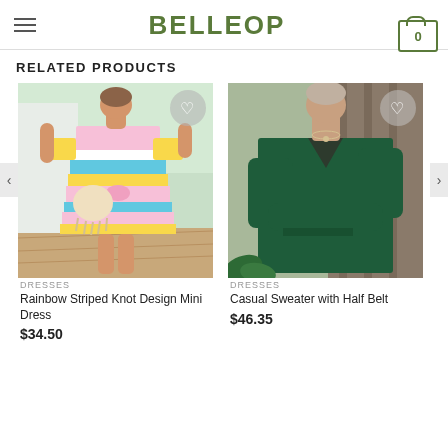BELLEOP
RELATED PRODUCTS
[Figure (photo): Woman wearing a rainbow striped knot design mini dress with a fringe bag, standing outdoors on a wooden deck]
DRESSES
Rainbow Striped Knot Design Mini Dress
$34.50
[Figure (photo): Woman wearing a dark green casual sweater with half belt, arms crossed, standing outdoors]
DRESSES
Casual Sweater with Half Belt
$46.35